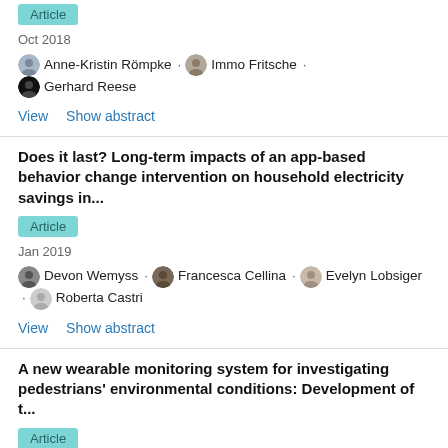Article
Oct 2018
Anne-Kristin Römpke · Immo Fritsche · Gerhard Reese
View    Show abstract
Does it last? Long-term impacts of an app-based behavior change intervention on household electricity savings in...
Article
Jan 2019
Devon Wemyss · Francesca Cellina · Evelyn Lobsiger · Roberta Castri
View    Show abstract
A new wearable monitoring system for investigating pedestrians' environmental conditions: Development of t...
Article
Feb 2018
Ilaria Diolcaiutile · Anne-Laura Birella